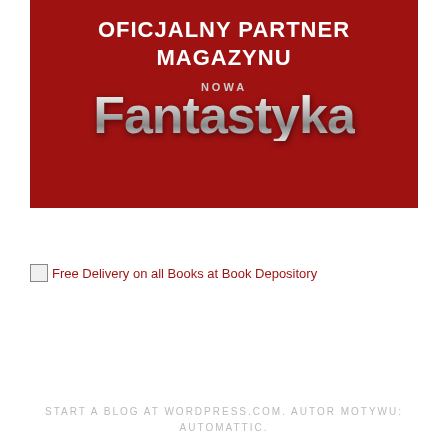[Figure (logo): Red banner with white bold text 'OFICJALNY PARTNER MAGAZYNU' and the Nowa Fantastyka magazine logo in silver metallic lettering on a dark red background]
[Figure (other): Broken image link placeholder with text 'Free Delivery on all Books at Book Depository' in dark red color]
START A BLOG AT WORDPRESS.COM. AUTOR MOTYWU: AUTOMATTIC.